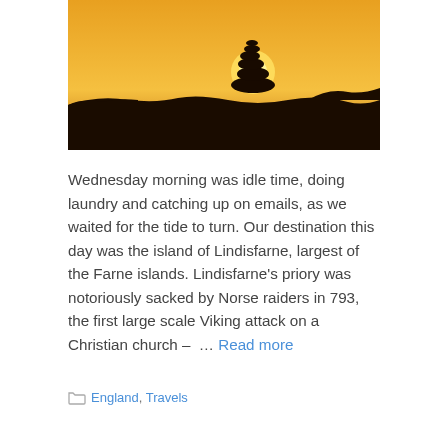[Figure (photo): Silhouette of stacked stones cairn against a golden-orange sunset sky]
Wednesday morning was idle time, doing laundry and catching up on emails, as we waited for the tide to turn. Our destination this day was the island of Lindisfarne, largest of the Farne islands. Lindisfarne's priory was notoriously sacked by Norse raiders in 793, the first large scale Viking attack on a Christian church – … Read more
England, Travels